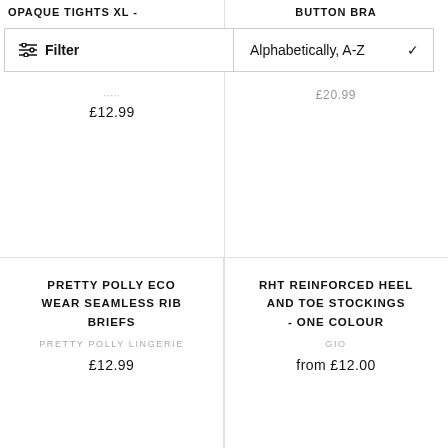OPAQUE TIGHTS XL -
BUTTON BRA
Filter
Alphabetically, A-Z
£20.99
£12.99
PRETTY POLLY ECO WEAR SEAMLESS RIB BRIEFS
PRETTY POLLY LINGERIE
£12.99
RHT REINFORCED HEEL AND TOE STOCKINGS - ONE COLOUR
GIO
from £12.00